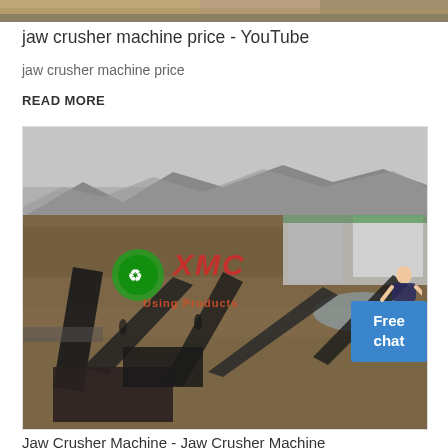[Figure (photo): Partial top strip of a mining site aerial photo]
jaw crusher machine price - YouTube
jaw crusher machine price
READ MORE
[Figure (photo): Aerial view of a jaw crusher mining site with XMC branding overlay and Free chat button]
Jaw Crusher Machine - Jaw Crusher Machine